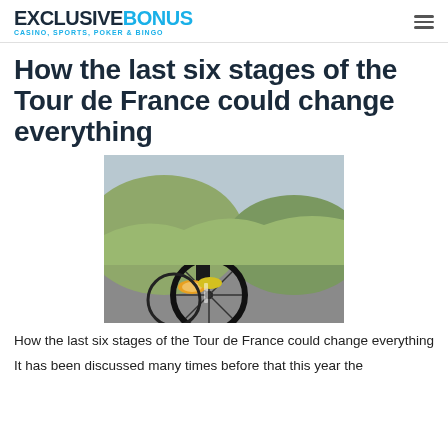EXCLUSIVEBONUS — CASINO, SPORTS, POKER & BINGO
How the last six stages of the Tour de France could change everything
[Figure (photo): Close-up photo of cyclists racing on a road, showing bicycle wheels and lower bodies of riders in colorful cycling gear]
How the last six stages of the Tour de France could change everything
It has been discussed many times before that this year the